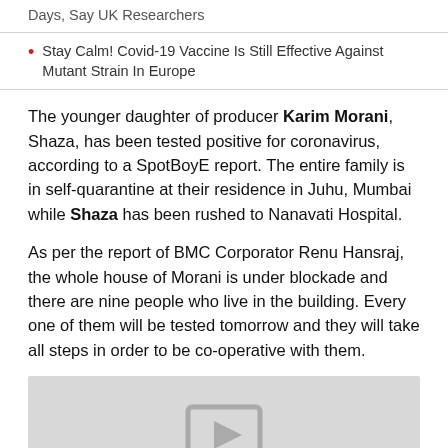Days, Say UK Researchers
Stay Calm! Covid-19 Vaccine Is Still Effective Against Mutant Strain In Europe
The younger daughter of producer Karim Morani, Shaza, has been tested positive for coronavirus, according to a SpotBoyE report. The entire family is in self-quarantine at their residence in Juhu, Mumbai while Shaza has been rushed to Nanavati Hospital.
As per the report of BMC Corporator Renu Hansraj, the whole house of Morani is under blockade and there are nine people who live in the building. Every one of them will be tested tomorrow and they will take all steps in order to be co-operative with them.
[Figure (photo): Image placeholder with a photo/video icon on grey background]